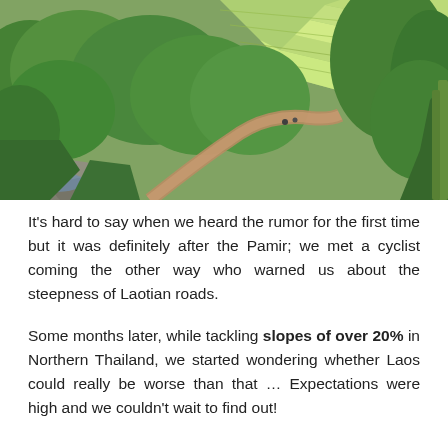[Figure (photo): Aerial/elevated view of lush green terraced rice fields and dense tropical vegetation with a dirt path visible in the middle distance and a small stream or rocky area in the foreground lower left.]
It's hard to say when we heard the rumor for the first time but it was definitely after the Pamir; we met a cyclist coming the other way who warned us about the steepness of Laotian roads.
Some months later, while tackling slopes of over 20% in Northern Thailand, we started wondering whether Laos could really be worse than that … Expectations were high and we couldn't wait to find out!